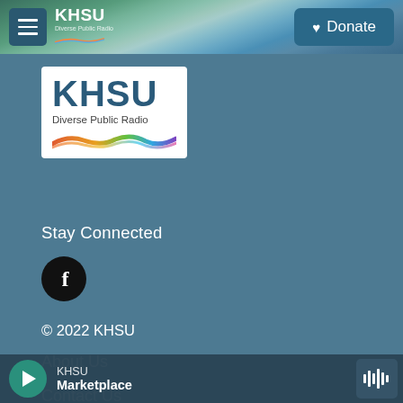[Figure (screenshot): KHSU Diverse Public Radio website screenshot showing header with menu button and Donate button, KHSU logo, Stay Connected section with Facebook icon, copyright and navigation links, and audio player bar at the bottom]
KHSU Diverse Public Radio — Donate
[Figure (logo): KHSU Diverse Public Radio logo with rainbow wave graphic]
Stay Connected
[Figure (illustration): Facebook circular icon button (black circle with white f)]
© 2022 KHSU
About Us
Contact Us
Public Files
KHSU — Marketplace (audio player)